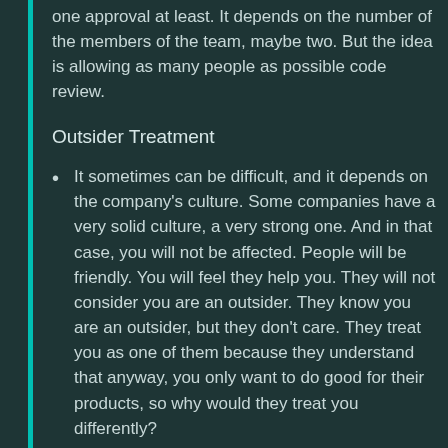one approval at least. It depends on the number of the members of the team, maybe two. But the idea is allowing as many people as possible code review.
Outsider Treatment
It sometimes can be difficult, and it depends on the company's culture. Some companies have a very solid culture, a very strong one. And in that case, you will not be affected. People will be friendly. You will feel they help you. They will not consider you are an outsider. They know you are an outsider, but they don't care. They treat you as one of them because they understand that anyway, you only want to do good for their products, so why would they treat you differently?